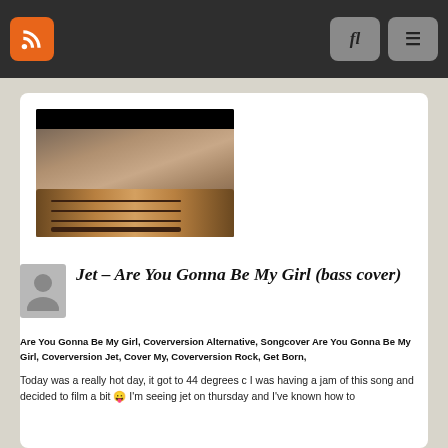Navigation bar with RSS icon, search and menu buttons
[Figure (screenshot): Video thumbnail showing a person playing acoustic guitar, with a black bar at top]
Jet – Are You Gonna Be My Girl (bass cover)
Are You Gonna Be My Girl, Coverversion Alternative, Songcover Are You Gonna Be My Girl, Coverversion Jet, Cover My, Coverversion Rock, Get Born,
Today was a really hot day, it got to 44 degrees c I was having a jam of this song and decided to film a bit 😛 I'm seeing jet on thursday and I've known how to